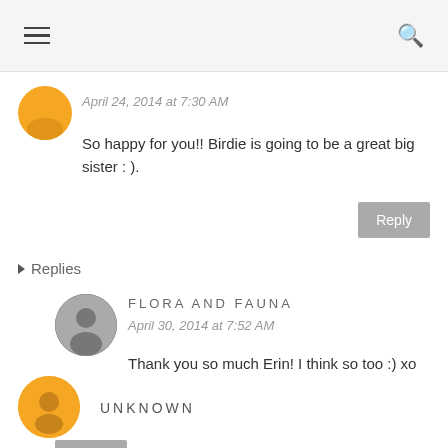≡  🔍
April 24, 2014 at 7:30 AM
So happy for you!! Birdie is going to be a great big sister : ).
▾ Replies
FLORA AND FAUNA
April 30, 2014 at 7:52 AM
Thank you so much Erin! I think so too :) xo
UNKNOWN